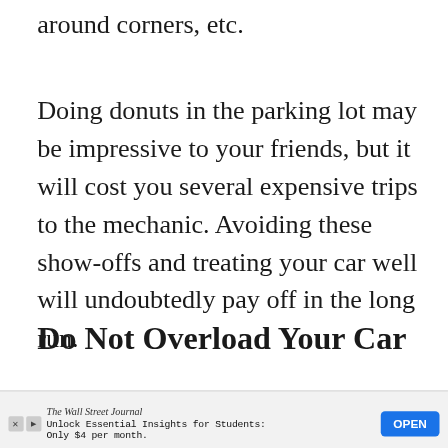around corners, etc.
Doing donuts in the parking lot may be impressive to your friends, but it will cost you several expensive trips to the mechanic. Avoiding these show-offs and treating your car well will undoubtedly pay off in the long run.
Do Not Overload Your Car
The vehicles will have labels indicating the maximum load they can carry or tow. Going
[Figure (screenshot): Wall Street Journal advertisement banner: 'Unlock Essential Insights for Students: Only $4 per month.' with an OPEN button]